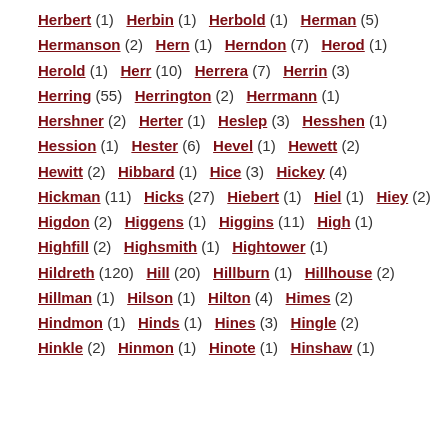Herbert (1)  Herbin (1)  Herbold (1)  Herman (5)
Hermanson (2)  Hern (1)  Herndon (7)  Herod (1)
Herold (1)  Herr (10)  Herrera (7)  Herrin (3)
Herring (55)  Herrington (2)  Herrmann (1)
Hershner (2)  Herter (1)  Heslep (3)  Hesshen (1)
Hession (1)  Hester (6)  Hevel (1)  Hewett (2)
Hewitt (2)  Hibbard (1)  Hice (3)  Hickey (4)
Hickman (11)  Hicks (27)  Hiebert (1)  Hiel (1)  Hiey (2)
Higdon (2)  Higgens (1)  Higgins (11)  High (1)
Highfill (2)  Highsmith (1)  Hightower (1)
Hildreth (120)  Hill (20)  Hillburn (1)  Hillhouse (2)
Hillman (1)  Hilson (1)  Hilton (4)  Himes (2)
Hindmon (1)  Hinds (1)  Hines (3)  Hingle (2)
Hinkle (2)  Hinmon (1)  Hinote (1)  Hinshaw (1)